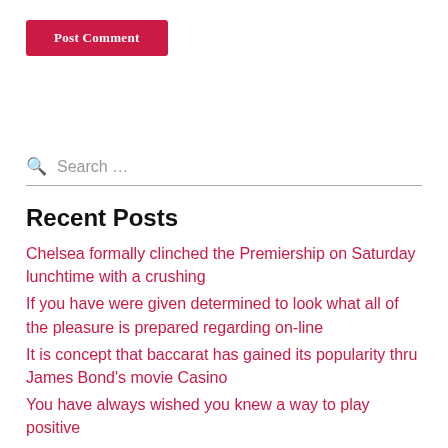[Figure (other): Red 'Post Comment' button]
Search …
Recent Posts
Chelsea formally clinched the Premiership on Saturday lunchtime with a crushing
If you have were given determined to look what all of the pleasure is prepared regarding on-line
It is concept that baccarat has gained its popularity thru James Bond's movie Casino
You have always wished you knew a way to play positive